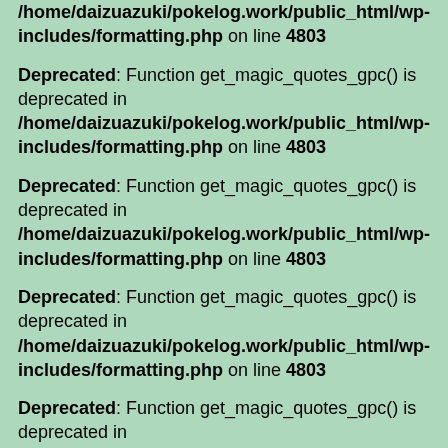/home/daizuazuki/pokelog.work/public_html/wp-includes/formatting.php on line 4803
Deprecated: Function get_magic_quotes_gpc() is deprecated in /home/daizuazuki/pokelog.work/public_html/wp-includes/formatting.php on line 4803
Deprecated: Function get_magic_quotes_gpc() is deprecated in /home/daizuazuki/pokelog.work/public_html/wp-includes/formatting.php on line 4803
Deprecated: Function get_magic_quotes_gpc() is deprecated in /home/daizuazuki/pokelog.work/public_html/wp-includes/formatting.php on line 4803
Deprecated: Function get_magic_quotes_gpc() is deprecated in /home/daizuazuki/pokelog.work/public_html/wp-includes/formatting.php on line 4803
Deprecated: Function get_magic_quotes_gpc() is deprecated in /home/daizuazuki/pokelog.work/public_html/wp-includes/formatting.php on line 4803